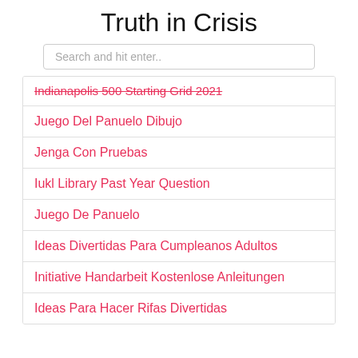Truth in Crisis
Search and hit enter..
Indianapolis 500 Starting Grid 2021
Juego Del Panuelo Dibujo
Jenga Con Pruebas
Iukl Library Past Year Question
Juego De Panuelo
Ideas Divertidas Para Cumpleanos Adultos
Initiative Handarbeit Kostenlose Anleitungen
Ideas Para Hacer Rifas Divertidas